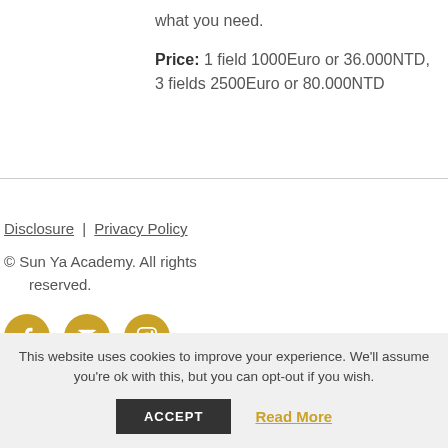what you need.
Price: 1 field 1000Euro or 36.000NTD, 3 fields 2500Euro or 80.000NTD
Disclosure | Privacy Policy
© Sun Ya Academy. All rights reserved.
[Figure (other): Social media icons: Facebook, Email, Instagram (gold circular buttons)]
This website uses cookies to improve your experience. We'll assume you're ok with this, but you can opt-out if you wish.
ACCEPT    Read More